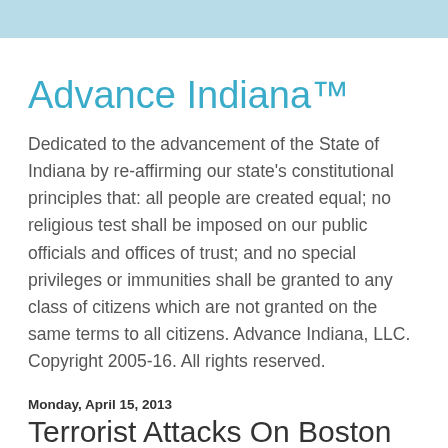Advance Indiana™
Dedicated to the advancement of the State of Indiana by re-affirming our state's constitutional principles that: all people are created equal; no religious test shall be imposed on our public officials and offices of trust; and no special privileges or immunities shall be granted to any class of citizens which are not granted on the same terms to all citizens. Advance Indiana, LLC. Copyright 2005-16. All rights reserved.
Monday, April 15, 2013
Terrorist Attacks On Boston Marathon
[Figure (photo): Dark/black image, partial view of a photo related to the Boston Marathon terrorist attacks]